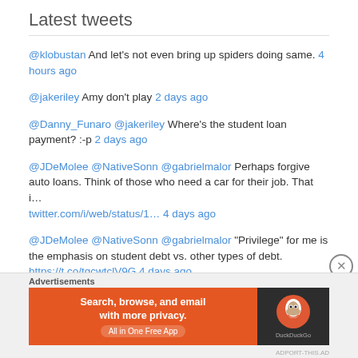Latest tweets
@klobustan And let's not even bring up spiders doing same. 4 hours ago
@jakeriley Amy don't play 2 days ago
@Danny_Funaro @jakeriley Where's the student loan payment? :-p 2 days ago
@JDeMolee @NativeSonn @gabrielmalor Perhaps forgive auto loans. Think of those who need a car for their job. That i… twitter.com/i/web/status/1… 4 days ago
@JDeMolee @NativeSonn @gabrielmalor "Privilege" for me is the emphasis on student debt vs. other types of debt. https://t.co/tqcwtclV9G 4 days ago
Advertisements
[Figure (screenshot): DuckDuckGo advertisement banner: orange background with text 'Search, browse, and email with more privacy. All in One Free App' and DuckDuckGo logo on dark background]